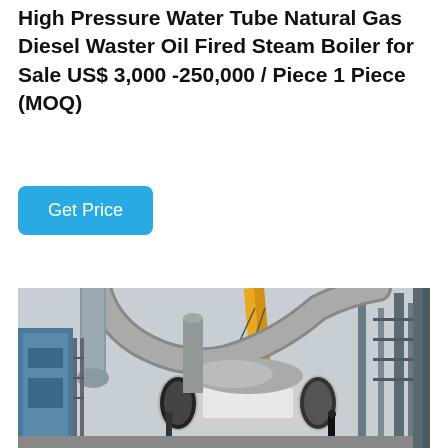High Pressure Water Tube Natural Gas Diesel Waster Oil Fired Steam Boiler for Sale US$ 3,000 -250,000 / Piece 1 Piece (MOQ)
[Figure (photo): Industrial steam boiler installation at a facility. A large cylindrical white/grey boiler unit is visible in the center, connected to large grey curved exhaust pipes/ducts. Yellow cranes and metal scaffolding structures surround the equipment. Blue industrial equipment is visible on the left. Workers are visible near the base of the equipment. The scene appears to be an outdoor industrial site on an overcast day.]